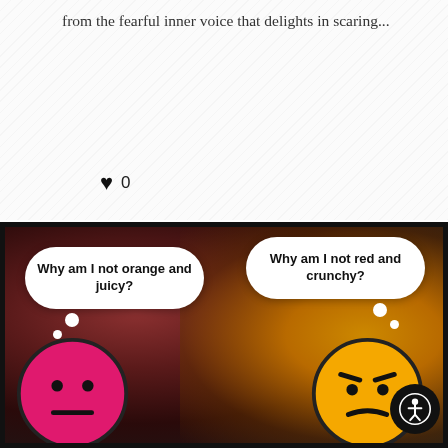from the fearful inner voice that delights in scaring...
READ MORE
♥ 0
[Figure (illustration): A humorous motivational image showing two cartoon smiley face emojis — one pink/magenta and one yellow/orange — against a background of apples and oranges. Each emoji has a thought bubble. The pink one thinks 'Why am I not orange and juicy?' and the yellow one thinks 'Why am I not red and crunchy?' — illustrating the concept of unhelpful self-comparison.]